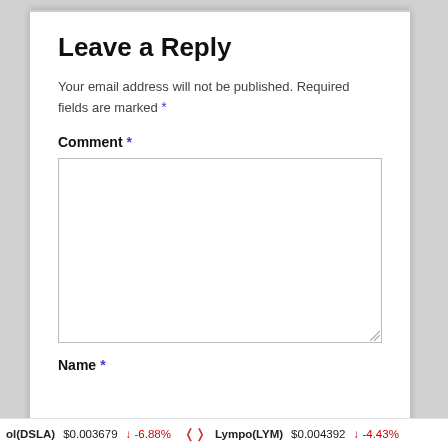Leave a Reply
Your email address will not be published. Required fields are marked *
Comment *
[Figure (other): Empty comment textarea input box]
Name *
ol(DSLA)  $0.003679  ↓  -6.88%     Lympo(LYM)  $0.004392  ↓  -4.43%